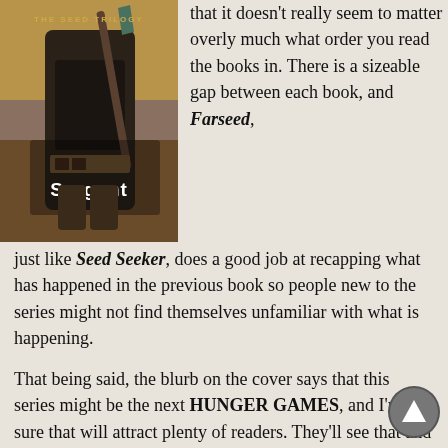[Figure (photo): Book cover for The Seed Trilogy by Pamela Sargent, showing a post-apocalyptic warrior figure holding a weapon]
that it doesn't really seem to matter overly much what order you read the books in. There is a sizeable gap between each book, and Farseed, just like Seed Seeker, does a good job at recapping what has happened in the previous book so people new to the series might not find themselves unfamiliar with what is happening.
That being said, the blurb on the cover says that this series might be the next HUNGER GAMES, and I'm sure that will attract plenty of readers. They'll see that and think, “hmm… HUNGER GAMES on another planet. That's just cool.” And probably pick it up. There are a similarities. First, this is a young adult series, with some